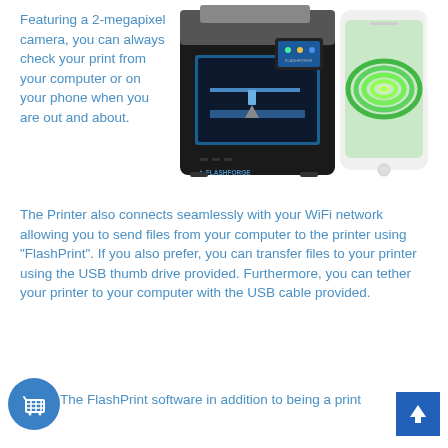Featuring a 2-megapixel camera, you can always check your print from your computer or on your phone when you are out and about.
[Figure (photo): A Flashforge 3D printer (black box with blue interior lighting and touchscreen display) alongside a smartphone showing a 3D printed green spiral object on its screen.]
The Printer also connects seamlessly with your WiFi network allowing you to send files from your computer to the printer using "FlashPrint". If you also prefer, you can transfer files to your printer using the USB thumb drive provided. Furthermore, you can tether your printer to your computer with the USB cable provided.
The FlashPrint software in addition to being a print